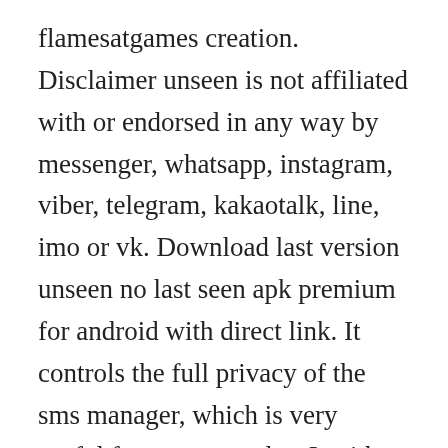flamesatgames creation. Disclaimer unseen is not affiliated with or endorsed in any way by messenger, whatsapp, instagram, viber, telegram, kakaotalk, line, imo or vk. Download last version unseen no last seen apk premium for android with direct link. It controls the full privacy of the sms manager, which is very useful for some peoples. In either case, you can even choose to pursue the unseen evil by. Unseen does not collect or store users personal data.
How to download movies in direct link